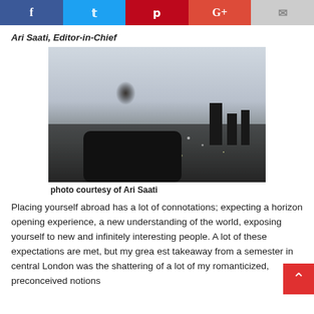[Social share bar: Facebook, Twitter, Pinterest, Google+, Email]
Ari Saati, Editor-in-Chief
[Figure (photo): Black and white photo of a young man (Ari Saati) standing in front of a cityscape panorama, likely taken from a high vantage point. City lights and cloudy sky visible in background.]
photo courtesy of Ari Saati
Placing yourself abroad has a lot of connotations; expecting a horizon opening experience, a new understanding of the world, exposing yourself to new and infinitely interesting people. A lot of these expectations are met, but my greatest takeaway from a semester in central London was the shattering of a lot of my romanticized, preconceived notions